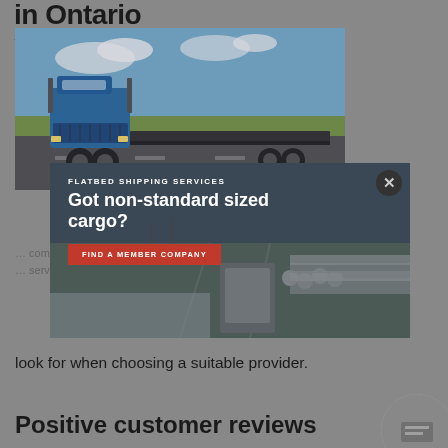in Ontario
[Figure (photo): Blue flatbed semi-truck on a highway with an empty flatbed trailer, blue sky in background]
[Figure (infographic): Ad overlay popup: FLATBED SHIPPING SERVICES - Got non-standard sized cargo? with FIND A MEMBER COMPANY red button, background shows aerial view of a flatbed truck carrying large pipes on a highway]
look for when choosing a suitable provider.
Positive customer reviews